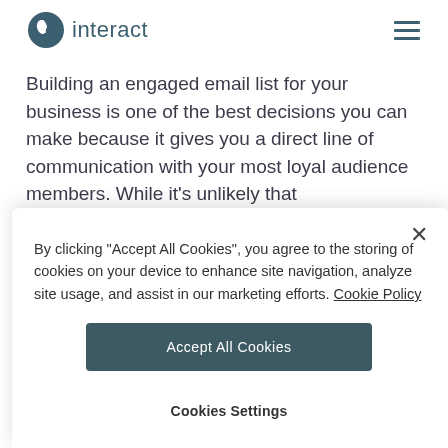interact
Building an engaged email list for your business is one of the best decisions you can make because it gives you a direct line of communication with your most loyal audience members. While it's unlikely that
By clicking "Accept All Cookies", you agree to the storing of cookies on your device to enhance site navigation, analyze site usage, and assist in our marketing efforts. Cookie Policy
Accept All Cookies
Cookies Settings
weren't all in one basket, so to speak